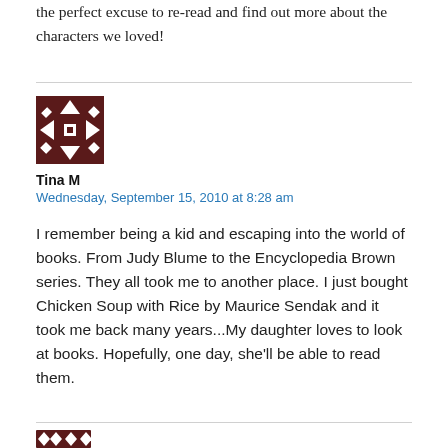the perfect excuse to re-read and find out more about the characters we loved!
[Figure (illustration): Dark brown and white geometric/abstract avatar icon with diamond and triangle pattern]
Tina M
Wednesday, September 15, 2010 at 8:28 am
I remember being a kid and escaping into the world of books. From Judy Blume to the Encyclopedia Brown series. They all took me to another place. I just bought Chicken Soup with Rice by Maurice Sendak and it took me back many years...My daughter loves to look at books. Hopefully, one day, she'll be able to read them.
[Figure (illustration): Partial view of another geometric avatar at the bottom of the page]